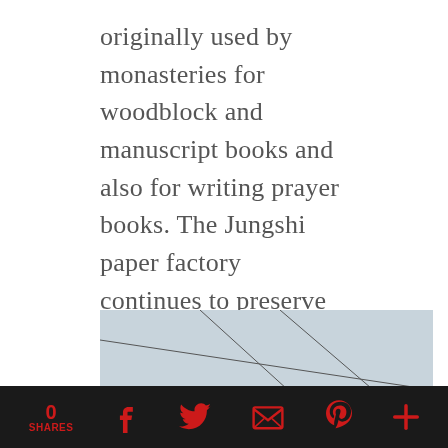originally used by monasteries for woodblock and manuscript books and also for writing prayer books. The Jungshi paper factory continues to preserve and promote this age-old Bhutanese tradition. It also produces various other products, such as stationery and greeting cards.
[Figure (photo): Photo of a building roofline showing a white guttering/drainage pipe mounted under corrugated roofing sheets, with wooden beams visible and a decorative white facade below, set against an overcast sky.]
0 SHARES  [Facebook] [Twitter] [Email] [Pinterest] [More]